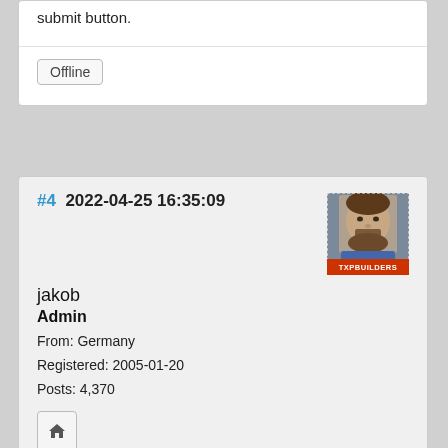submit button.
Offline
#4  2022-04-25 16:35:09
[Figure (photo): Avatar photo of user jakob with TXPBUILDERS badge at the bottom]
jakob
Admin
From: Germany
Registered: 2005-01-20
Posts: 4,370
[Figure (infographic): Home icon button]
Lovely design Peter! Worthy topic too (also a past architect here).

Shortcodes provide an excellent way of